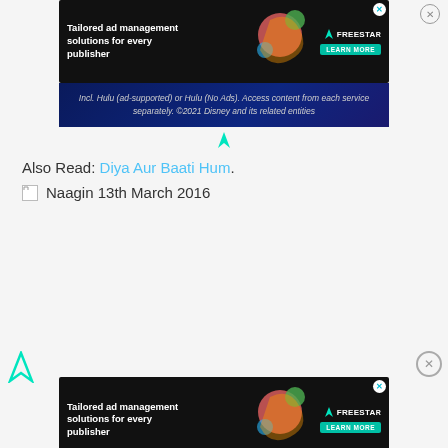[Figure (screenshot): Freestar advertisement banner at top - dark background with 'Tailored ad management solutions for every publisher' text and LEARN MORE button]
Incl. Hulu (ad-supported) or Hulu (No Ads). Access content from each service separately. ©2021 Disney and its related entities
Also Read: Diya Aur Baati Hum.
[Figure (photo): Broken image placeholder with label 'Naagin 13th March 2016']
[Figure (screenshot): Freestar advertisement banner at bottom - same as top banner]